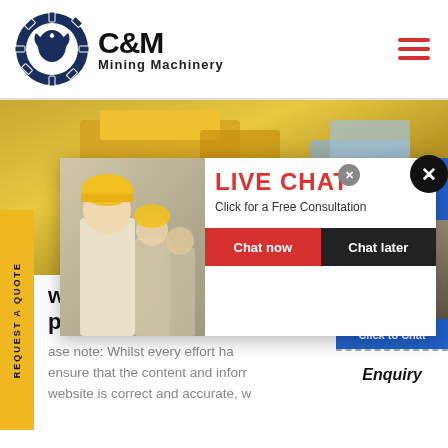[Figure (logo): C&M Mining Machinery logo with gear and eagle emblem in dark blue, company name in bold black text]
[Figure (photo): Background hero photo of yellow mining equipment/machinery on a construction site]
[Figure (infographic): Live chat popup with photo of workers in hard hats, LIVE CHAT heading in red, Chat now and Chat later buttons]
[Figure (photo): Chat agent photo of woman with headset smiling, with Click to Chat blue button and Enquiry label]
w Crushers Black & W pplies
ase note: Whilst every effort has ensure that the content and inform website is correct and accurate, w